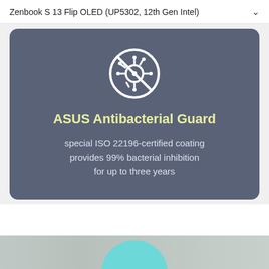Zenbook S 13 Flip OLED (UP5302, 12th Gen Intel)
[Figure (infographic): ASUS Antibacterial Guard card with a circular no-bacteria icon, title 'ASUS Antibacterial Guard', and text 'special ISO 22196-certified coating provides 99% bacterial inhibition for up to three years' on a slate-blue rounded card background.]
[Figure (photo): Partial photo at the bottom of the page showing a beige/gray wall with a teal/turquoise arch or rounded element.]